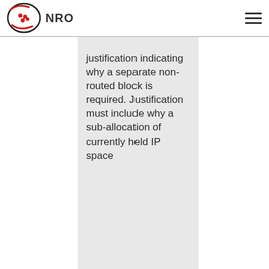NRO
justification indicating why a separate non-routed block is required. Justification must include why a sub-allocation of currently held IP space